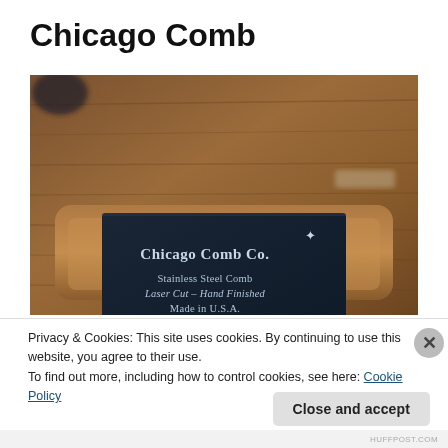Chicago Comb
[Figure (photo): Photo of a dark navy/black product card for Chicago Comb Co. sitting on a wooden tray. The card reads: Chicago Comb Co. (bold, with a star symbol), Stainless Steel Comb, Laser Cut – Hand Finished, Made in U.S.A. The background shows a blurred wooden surface.]
Privacy & Cookies: This site uses cookies. By continuing to use this website, you agree to their use.
To find out more, including how to control cookies, see here: Cookie Policy
Close and accept